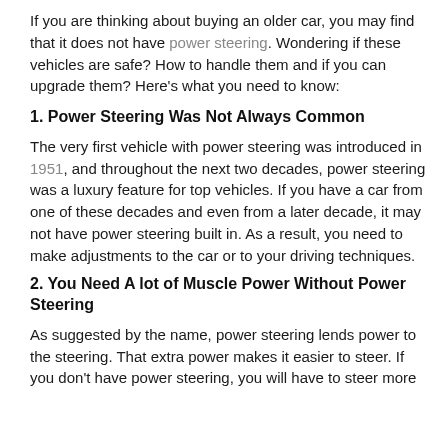If you are thinking about buying an older car, you may find that it does not have power steering. Wondering if these vehicles are safe? How to handle them and if you can upgrade them? Here's what you need to know:
1. Power Steering Was Not Always Common
The very first vehicle with power steering was introduced in 1951, and throughout the next two decades, power steering was a luxury feature for top vehicles. If you have a car from one of these decades and even from a later decade, it may not have power steering built in. As a result, you need to make adjustments to the car or to your driving techniques.
2. You Need A lot of Muscle Power Without Power Steering
As suggested by the name, power steering lends power to the steering. That extra power makes it easier to steer. If you don't have power steering, you will have to steer more